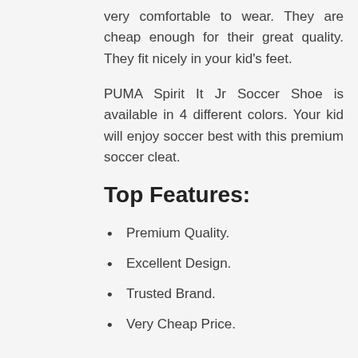very comfortable to wear. They are cheap enough for their great quality. They fit nicely in your kid's feet.
PUMA Spirit It Jr Soccer Shoe is available in 4 different colors. Your kid will enjoy soccer best with this premium soccer cleat.
Top Features:
Premium Quality.
Excellent Design.
Trusted Brand.
Very Cheap Price.